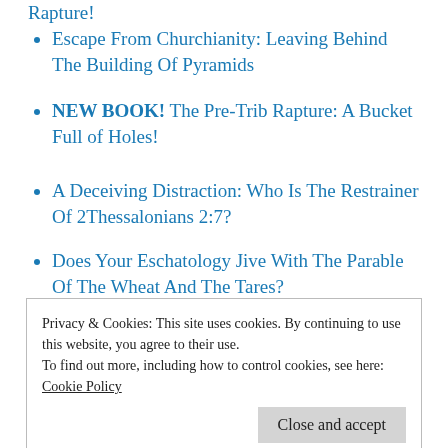Rapture!
Escape From Churchianity: Leaving Behind The Building Of Pyramids
NEW BOOK! The Pre-Trib Rapture: A Bucket Full of Holes!
A Deceiving Distraction: Who Is The Restrainer Of 2Thessalonians 2:7?
Does Your Eschatology Jive With The Parable Of The Wheat And The Tares?
Does The Myth Of -‘An Unknown Day (Rapture) Versus A Known Day (Advent)’-
Privacy & Cookies: This site uses cookies. By continuing to use this website, you agree to their use.
To find out more, including how to control cookies, see here: Cookie Policy
Stolen Scriptures: Unmasking The